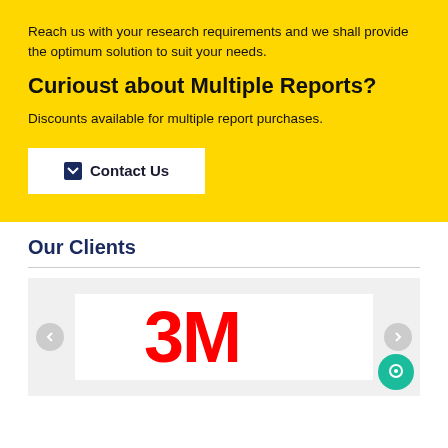Reach us with your research requirements and we shall provide the optimum solution to suit your needs.
Curioust about Multiple Reports?
Discounts available for multiple report purchases.
Contact Us
Our Clients
[Figure (logo): 3M company logo in red on white background, displayed in a carousel slider with left and right navigation arrows]